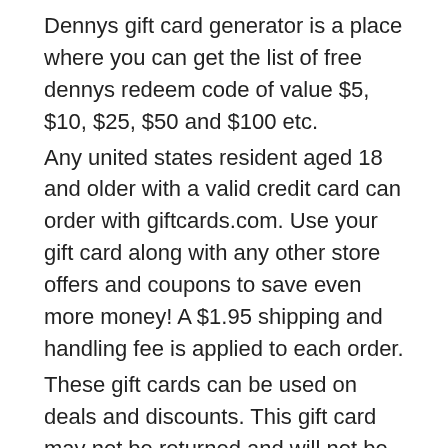Dennys gift card generator is a place where you can get the list of free dennys redeem code of value $5, $10, $25, $50 and $100 etc.
Any united states resident aged 18 and older with a valid credit card can order with giftcards.com. Use your gift card along with any other store offers and coupons to save even more money! A $1.95 shipping and handling fee is applied to each order.
These gift cards can be used on deals and discounts. This gift card may not be returned and will not be replaced if lost or stolen. Not valid for more than $100 us.
Large gift card orders should go through our corporate division, omnicard.com. This denny's gift card may be applied toward the cost of food, beverage and gratuity at any participating us denny's restaurant up to the